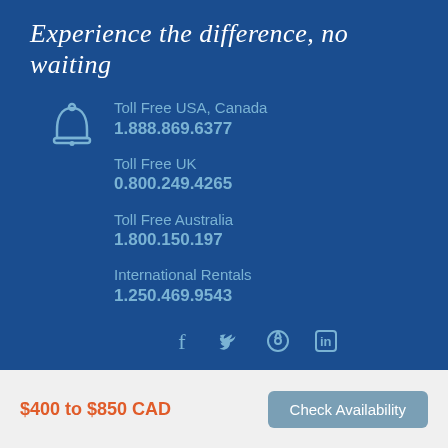Experience the difference, no waiting
Toll Free USA, Canada
1.888.869.6377
Toll Free UK
0.800.249.4265
Toll Free Australia
1.800.150.197
International Rentals
1.250.469.9543
[Figure (infographic): Social media icons: Facebook, Twitter, Pinterest, LinkedIn]
© Copyright 2023 – Copper Point Rentals. All rights reserved.
$400 to $850 CAD
Check Availability